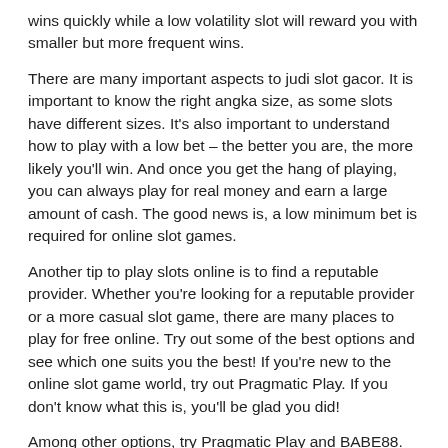wins quickly while a low volatility slot will reward you with smaller but more frequent wins.
There are many important aspects to judi slot gacor. It is important to know the right angka size, as some slots have different sizes. It's also important to understand how to play with a low bet – the better you are, the more likely you'll win. And once you get the hang of playing, you can always play for real money and earn a large amount of cash. The good news is, a low minimum bet is required for online slot games.
Another tip to play slots online is to find a reputable provider. Whether you're looking for a reputable provider or a more casual slot game, there are many places to play for free online. Try out some of the best options and see which one suits you the best! If you're new to the online slot game world, try out Pragmatic Play. If you don't know what this is, you'll be glad you did!
Among other options, try Pragmatic Play and BABE88. These two providers have some amazing slot games, and they're both trusted and safe. You'll be glad you chose them over less popular online casinos. You can also enjoy a mobile gaming experience on the go. And if you want a slot machine with an exotic theme, consider visiting a casino near you. You'll have more options to win! That's what makes this game so popular!
Another popular online provider of slot games is Joker123. This provider offers many great games, and their RTP is very high. Joker123 is a great place to play new games and win big! If you're new to slots, you should